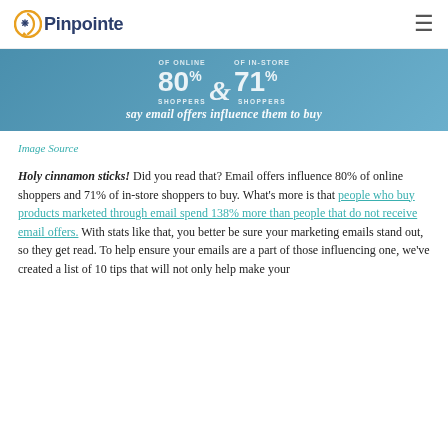Pinpointe
[Figure (infographic): Blue banner showing '80% of online shoppers & 71% of in-store shoppers say email offers influence them to buy']
Image Source
Holy cinnamon sticks! Did you read that? Email offers influence 80% of online shoppers and 71% of in-store shoppers to buy. What's more is that people who buy products marketed through email spend 138% more than people that do not receive email offers. With stats like that, you better be sure your marketing emails stand out, so they get read. To help ensure your emails are a part of those influencing one, we've created a list of 10 tips that will not only help make your